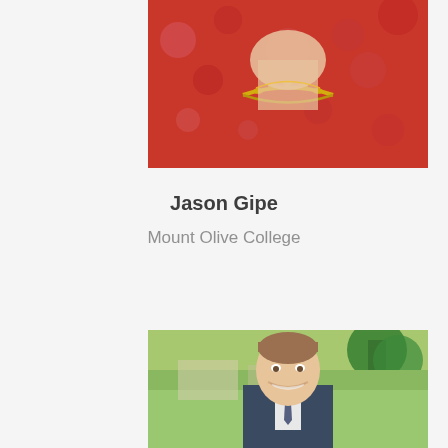[Figure (photo): Partial photo of a woman wearing a red floral dress and gold chain necklace, cropped at the shoulders/neckline area]
Jason Gipe
Mount Olive College
[Figure (photo): Photo of a smiling man (Jason Gipe) in a suit, photographed outdoors on what appears to be a college campus with green trees in the background]